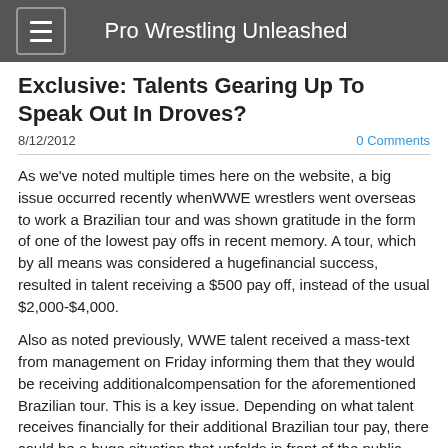Pro Wrestling Unleashed
Exclusive: Talents Gearing Up To Speak Out In Droves?
8/12/2012
0 Comments
As we've noted multiple times here on the website, a big issue occurred recently whenWWE wrestlers went overseas to work a Brazilian tour and was shown gratitude in the form of one of the lowest pay offs in recent memory. A tour, which by all means was considered a hugefinancial success, resulted in talent receiving a $500 pay off, instead of the usual $2,000-$4,000.
Also as noted previously, WWE talent received a mass-text from management on Friday informing them that they would be receiving additionalcompensation for the aforementioned Brazilian tour. This is a key issue. Depending on what talent receives financially for their additional Brazilian tour pay, there could be a huge situation that unfolds in front of the public eye.